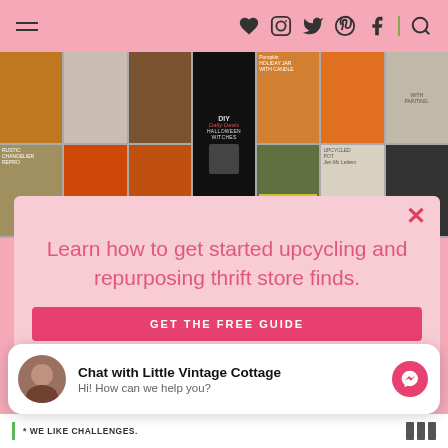Navigation bar with hamburger menu and social icons (heart, instagram, twitter, pinterest, facebook, search)
[Figure (photo): Collage of Halloween and fall craft project photos including pumpkins, DIY decorations, candles, and upcycled items]
Learn how to get started upcycling and repurposing thrift store finds.
GET THE FREE GUIDE
Chat with Little Vintage Cottage
Hi! How can we help you?
* WE LIKE CHALLENGES.